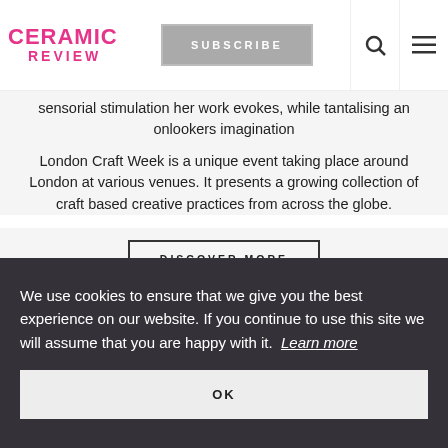CERAMIC REVIEW | SUBSCRIBE
sensorial stimulation her work evokes, while tantalising an onlookers imagination
London Craft Week is a unique event taking place around London at various venues. It presents a growing collection of craft based creative practices from across the globe.
DISCOVER MORE
We use cookies to ensure that we give you the best experience on our website. If you continue to use this site we will assume that you are happy with it. Learn more
OK